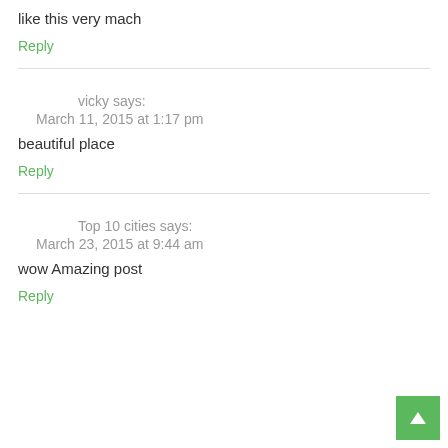like this very mach
Reply
vicky says:
March 11, 2015 at 1:17 pm
beautiful place
Reply
Top 10 cities says:
March 23, 2015 at 9:44 am
wow Amazing post
Reply